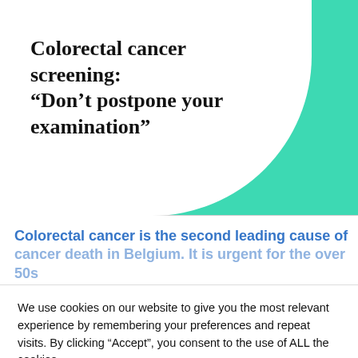Colorectal cancer screening: “Don’t postpone your examination”
Colorectal cancer is the second leading cause of cancer death in Belgium. It is urgent for the over 50s
We use cookies on our website to give you the most relevant experience by remembering your preferences and repeat visits. By clicking “Accept”, you consent to the use of ALL the cookies.